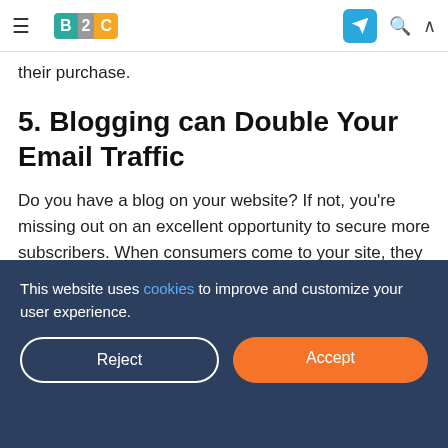B2C [logo] [navigation icons]
their purchase.
5. Blogging can Double Your Email Traffic
Do you have a blog on your website? If not, you're missing out on an excellent opportunity to secure more subscribers. When consumers come to your site, they are often there for more than a simple purchase. Most people like reading
This website uses cookies to improve and customize your user experience.
subscribe, such as exclusive content, discounts, or early